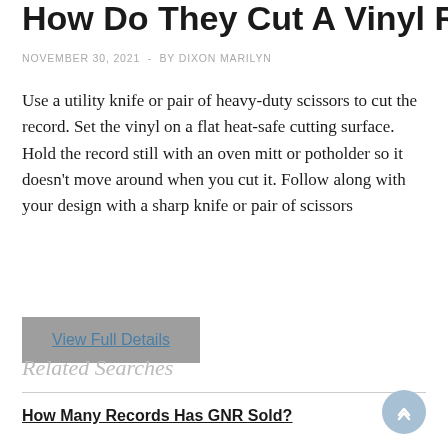How Do They Cut A Vinyl Record?
NOVEMBER 30, 2021 - BY DIXON MARILYN
Use a utility knife or pair of heavy-duty scissors to cut the record. Set the vinyl on a flat heat-safe cutting surface. Hold the record still with an oven mitt or potholder so it doesn't move around when you cut it. Follow along with your design with a sharp knife or pair of scissors
View Full Details
Related Searches
How Many Records Has GNR Sold?